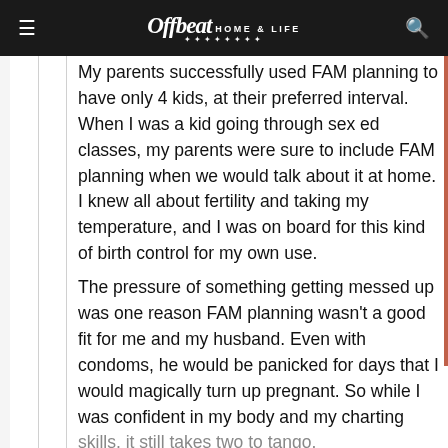Offbeat HOME & LIFE
My parents successfully used FAM planning to have only 4 kids, at their preferred interval. When I was a kid going through sex ed classes, my parents were sure to include FAM planning when we would talk about it at home. I knew all about fertility and taking my temperature, and I was on board for this kind of birth control for my own use.
The pressure of something getting messed up was one reason FAM planning wasn't a good fit for me and my husband. Even with condoms, he would be panicked for days that I would magically turn up pregnant. So while I was confident in my body and my charting skills, it still takes two to tango.
That's partly why I eventually ended up getting